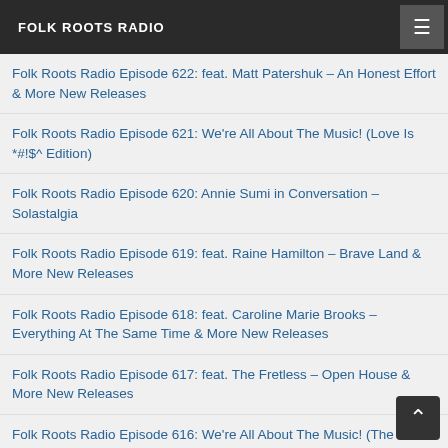FOLK ROOTS RADIO
Folk Roots Radio Episode 622: feat. Matt Patershuk – An Honest Effort & More New Releases
Folk Roots Radio Episode 621: We're All About The Music! (Love Is *#!$^ Edition)
Folk Roots Radio Episode 620: Annie Sumi in Conversation – Solastalgia
Folk Roots Radio Episode 619: feat. Raine Hamilton – Brave Land & More New Releases
Folk Roots Radio Episode 618: feat. Caroline Marie Brooks – Everything At The Same Time & More New Releases
Folk Roots Radio Episode 617: feat. The Fretless – Open House & More New Releases
Folk Roots Radio Episode 616: We're All About The Music! (The Turning Year Edition)
Folk Roots Radio Episode 615: Our Favourite Albums of 2021
Folk Roots Radio Episode 614: Christa Couture In Conversation To Us